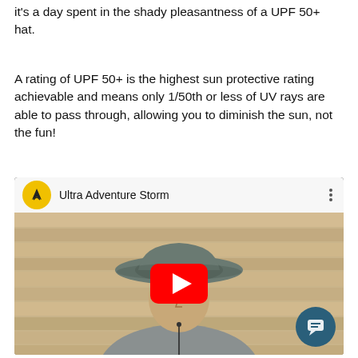it's a day spent in the shady pleasantness of a UPF 50+ hat.
A rating of UPF 50+ is the highest sun protective rating achievable and means only 1/50th or less of UV rays are able to pass through, allowing you to diminish the sun, not the fun!
[Figure (screenshot): Embedded YouTube video thumbnail showing a man wearing a wide-brim sun hat (Ultra Adventure Storm) standing in front of a wooden wall. The video has a red YouTube play button in the center, a yellow circular logo with a mountain/snake icon on the top left bar, the title 'Ultra Adventure Storm', a three-dot menu icon, and a teal chat bubble icon in the bottom right corner.]